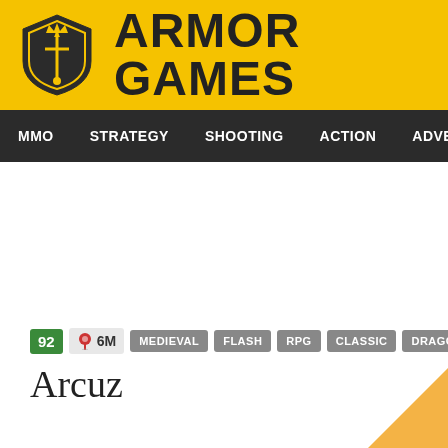[Figure (logo): Armor Games logo: yellow header bar with shield icon and 'ARMOR GAMES' text]
MMO  STRATEGY  SHOOTING  ACTION  ADVENTURE  P
Arcuz
92  6M  MEDIEVAL  FLASH  RPG  CLASSIC  DRAGON